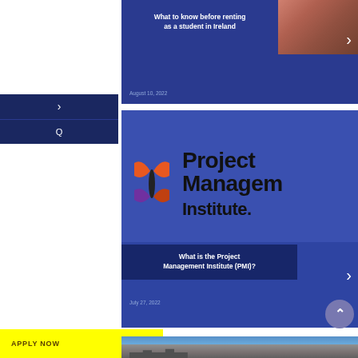[Figure (photo): Blog card with photo of buildings/street scene in Ireland, dark blue background with article title]
What to know before renting as a student in Ireland
August 10, 2022
[Figure (logo): Project Management Institute (PMI) logo with orange butterfly icon and bold black wordmark 'Project Management Institute.']
What is the Project Management Institute (PMI)?
July 27, 2022
[Figure (photo): Bottom of page showing castle ruins against blue sky]
APPLY NOW